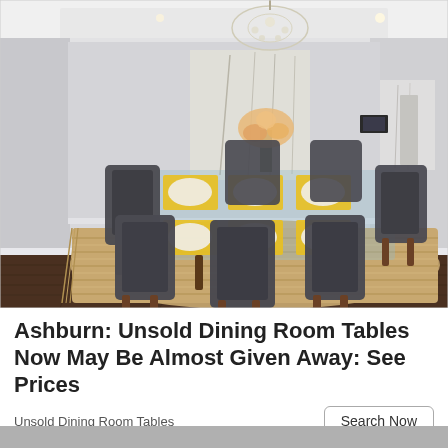[Figure (photo): A modern dining room with a glass-top table set with yellow placemats, six dark upholstered chairs, a large woven jute area rug with fringe, hardwood floors, white walls, abstract artwork, and a crystal chandelier overhead.]
Ashburn: Unsold Dining Room Tables Now May Be Almost Given Away: See Prices
Unsold Dining Room Tables
Search Now